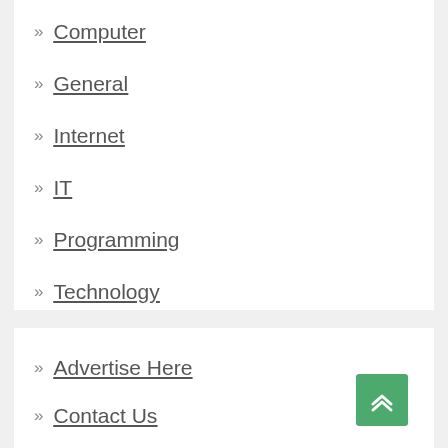» Computer
» General
» Internet
» IT
» Programming
» Technology
» Advertise Here
» Contact Us